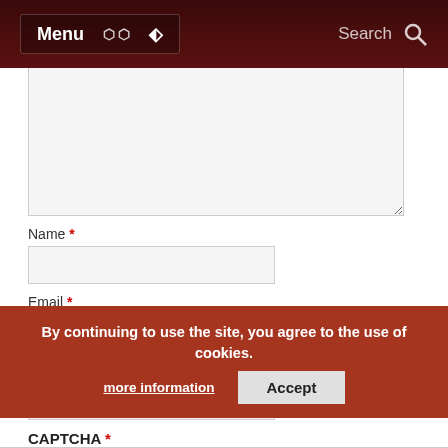Menu | Search
[Comment textarea]
Name *
Email *
Website
CAPTCHA *
seven + seven =
Post Comment
Notify me of followup comments via email.
Notify me of new posts by email.
By continuing to use the site, you agree to the use of cookies. more information Accept